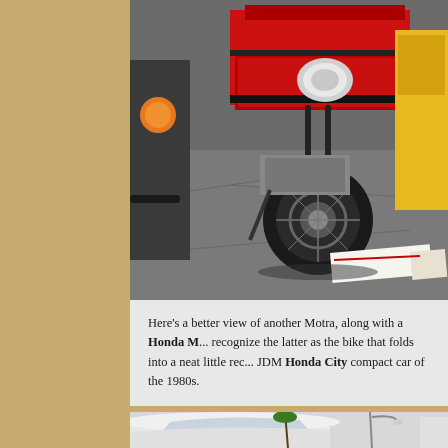[Figure (photo): A red Honda Motra small motorcycle/scooter parked on a concrete surface, surrounded by other motorcycles. A yellow vehicle is visible on the right side. A paper/document is on the ground in front of it.]
Here's a better view of another Motra, along with a Honda M... recognize the latter as the bike that folds into a neat little rec... JDM Honda City compact car of the 1980s.
[Figure (photo): Partial view of a white classic car from the front, with palm trees and a street lamp visible in the background.]